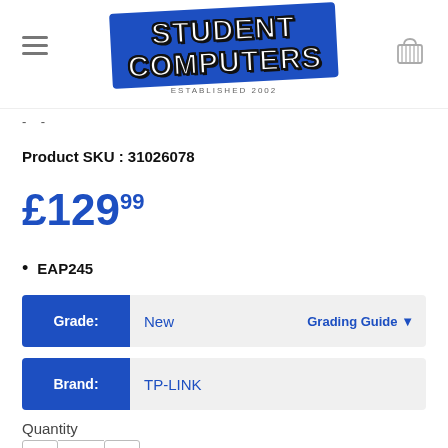[Figure (logo): Student Computers logo — blue tilted rectangle with bold white text 'STUDENT COMPUTERS' and 'ESTABLISHED 2002' below]
- -
Product SKU : 31026078
£129.99
EAP245
Grade: New   Grading Guide
Brand: TP-LINK
Quantity
- 1 +